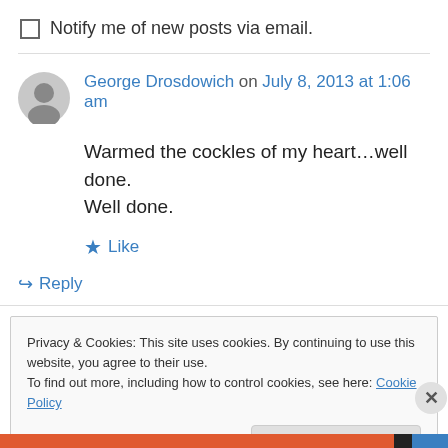Notify me of new posts via email.
George Drosdowich on July 8, 2013 at 1:06 am
Warmed the cockles of my heart…well done. Well done.
Like
Reply
Privacy & Cookies: This site uses cookies. By continuing to use this website, you agree to their use.
To find out more, including how to control cookies, see here: Cookie Policy
Close and accept